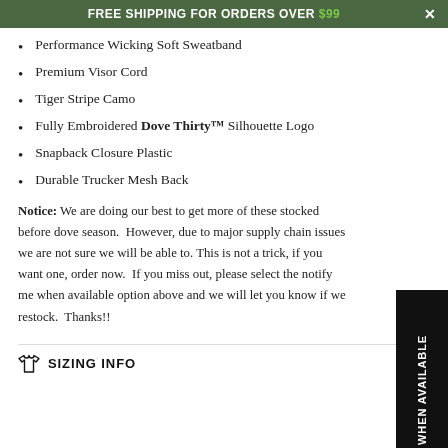FREE SHIPPING FOR ORDERS OVER $99
Performance Wicking Soft Sweatband
Premium Visor Cord
Tiger Stripe Camo
Fully Embroidered Dove Thirty™ Silhouette Logo
Snapback Closure Plastic
Durable Trucker Mesh Back
Notice: We are doing our best to get more of these stocked before dove season. However, due to major supply chain issues we are not sure we will be able to. This is not a trick, if you want one, order now. If you miss out, please select the notify me when available option above and we will let you know if we restock. Thanks!!
SIZING INFO